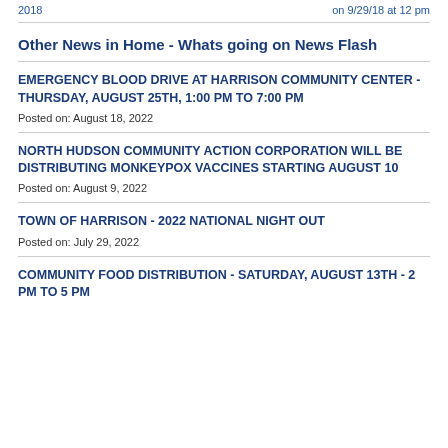2018 | on 9/29/18 at 12 pm
Other News in Home - Whats going on News Flash
EMERGENCY BLOOD DRIVE AT HARRISON COMMUNITY CENTER - THURSDAY, AUGUST 25TH, 1:00 PM TO 7:00 PM
Posted on: August 18, 2022
NORTH HUDSON COMMUNITY ACTION CORPORATION WILL BE DISTRIBUTING MONKEYPOX VACCINES STARTING AUGUST 10
Posted on: August 9, 2022
TOWN OF HARRISON - 2022 NATIONAL NIGHT OUT
Posted on: July 29, 2022
COMMUNITY FOOD DISTRIBUTION - SATURDAY, AUGUST 13TH - 2 PM TO 5 PM